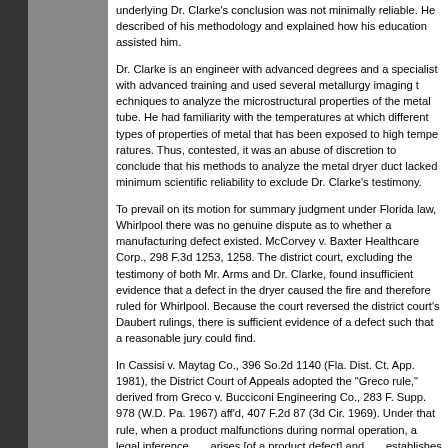underlying Dr. Clarke's conclusion was not minimally reliable. He described of his methodology and explained how his education ass...
Dr. Clarke is an engineer with advanced degrees and a s advanced training and used several metallurgy imaging  analyze the microstructural properties of the metal tube. familiarity with the temperatures at which different types properties of metal that has been exposed to high tempe contested, it was an abuse of discretion to conclude that analyze the metal dryer duct lacked minimum scientific r Dr. Clarke's testimony.
To prevail on its motion for summary judgment under Flo there was no genuine dispute as to whether a manufactu McCorvey v. Baxter Healthcare Corp., 298 F.3d 1253, 12 excluding the testimony of both Mr. Arms and Dr. Clarke, evidence that a defect in the dryer caused the fire and th Whirlpool. Because the court reversed the district court's there is sufficient evidence of a defect such that a reaso
In Cassisi v. Maytag Co., 396 So.2d 1140 (Fla. Dist. Ct. A Appeals adopted the "Greco rule," derived from Greco v. Pa. 1967) aff'd, 407 F.2d 87 (3d Cir. 1969). Under that ru normal operation, a legal inference . . . arises [of a produ establishes a prima facie case for jury consideration." Ca forth sufficient evidence to create a dispute as to whethe started. First, the Fire Marshal's report states that the fire southwest corner of the utility room. Second, United Fire testimony that the fire originated from inside the dryer.